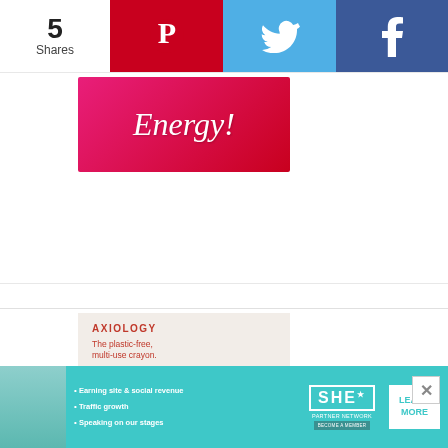5 Shares
[Figure (logo): Pinterest icon on red background]
[Figure (logo): Twitter bird icon on blue background]
[Figure (logo): Facebook f icon on dark blue background]
[Figure (photo): Red image with cursive text 'Energy!' on pink/red background]
[Figure (photo): Axiology advertisement: cream background with red brand name 'AXIOLOGY', tagline 'The plastic-free, multi-use crayon.', product photo of red box Lip-To-Lid Balmies, and SHOP NOW button]
[Figure (infographic): SHE Partner Network banner ad: teal background with bullet points: Earning site & social revenue, Traffic growth, Speaking on our stages. Includes woman photo, SHE STAR logo, and LEARN MORE button]